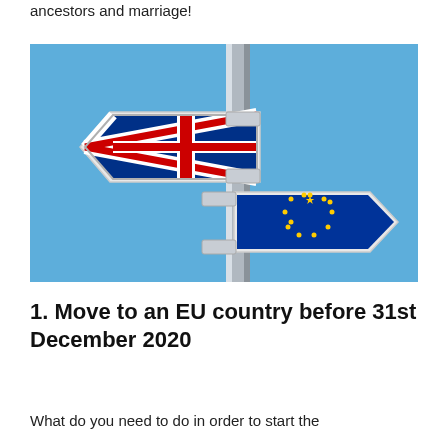ancestors and marriage!
[Figure (illustration): A road sign pole with two directional arrow signs: the upper-left arrow displays the UK Union Jack flag pattern, and the lower-right arrow displays the EU flag (blue with yellow stars). The background is a bright sky blue.]
1. Move to an EU country before 31st December 2020
What do you need to do in order to start the